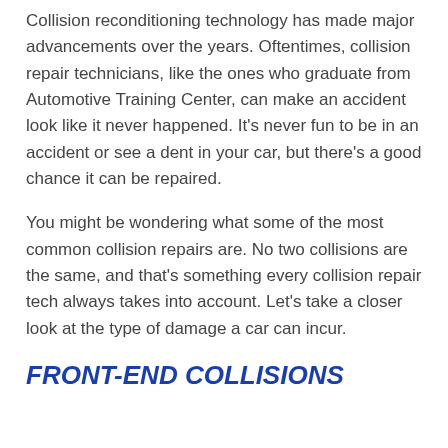Collision reconditioning technology has made major advancements over the years. Oftentimes, collision repair technicians, like the ones who graduate from Automotive Training Center, can make an accident look like it never happened. It's never fun to be in an accident or see a dent in your car, but there's a good chance it can be repaired.
You might be wondering what some of the most common collision repairs are. No two collisions are the same, and that's something every collision repair tech always takes into account. Let's take a closer look at the type of damage a car can incur.
FRONT-END COLLISIONS